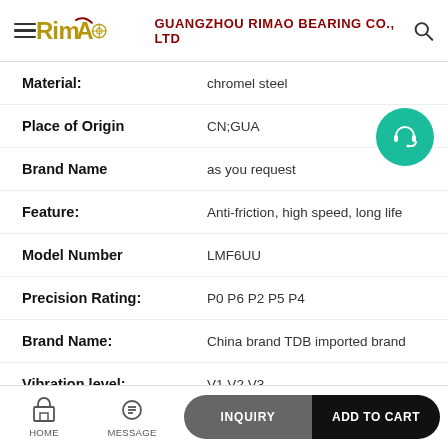GUANGZHOU RIMAO BEARING CO., LTD
| Attribute | Value |
| --- | --- |
| Material: | chromel steel |
| Place of Origin | CN;GUA |
| Brand Name | as you request |
| Feature: | Anti-friction, high speed, long life |
| Model Number | LMF6UU |
| Precision Rating: | P0 P6 P2 P5 P4 |
| Brand Name: | China brand TDB imported brand |
| Vibration level: | V1 V2 V3 |
HOME  MESSAGE  INQUIRY  ADD TO CART